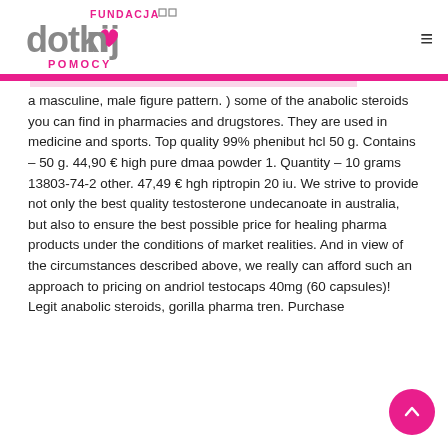[Figure (logo): Fundacja Dotknij Pomocy logo — stylized text 'dotknij' with heart icon, 'FUNDACJA' above and 'POMOCY' below, in grey and pink]
a masculine, male figure pattern. ) some of the anabolic steroids you can find in pharmacies and drugstores. They are used in medicine and sports. Top quality 99% phenibut hcl 50 g. Contains – 50 g. 44,90 € high pure dmaa powder 1. Quantity – 10 grams 13803-74-2 other. 47,49 € hgh riptropin 20 iu. We strive to provide not only the best quality testosterone undecanoate in australia, but also to ensure the best possible price for healing pharma products under the conditions of market realities. And in view of the circumstances described above, we really can afford such an approach to pricing on andriol testocaps 40mg (60 capsules)! Legit anabolic steroids, gorilla pharma tren. Purchase